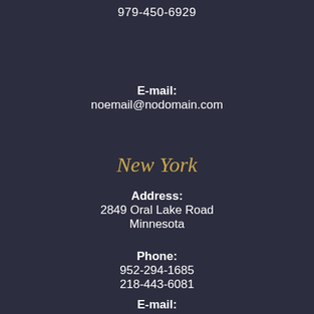979-450-6929
E-mail:
noemail@nodomain.com
New York
Address:
2849 Oral Lake Road
Minnesota
Phone:
952-294-1685
218-443-6081
E-mail: